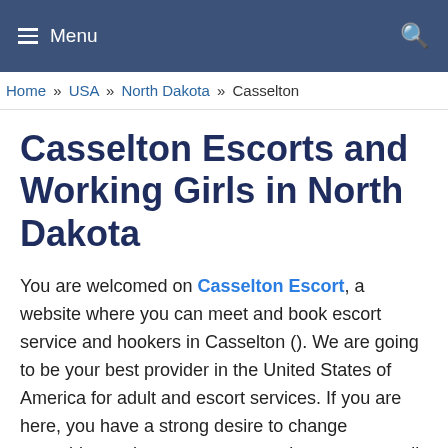≡ Menu   🔍
Home » USA » North Dakota » Casselton
Casselton Escorts and Working Girls in North Dakota
You are welcomed on Casselton Escort, a website where you can meet and book escort service and hookers in Casselton (). We are going to be your best provider in the United States of America for adult and escort services. If you are here, you have a strong desire to change something, to have a rest, or need a woman to talk to, so you can have lots of